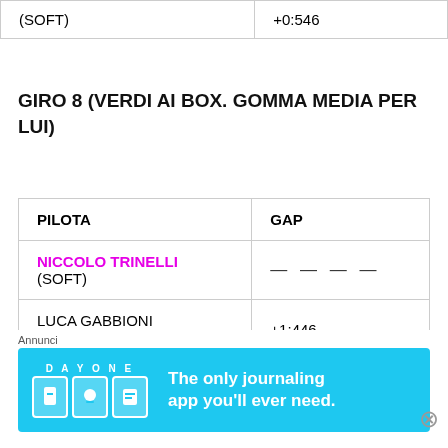|  |  |
| --- | --- |
| (SOFT) | +0:546 |
GIRO 8 (VERDI AI BOX. GOMMA MEDIA PER LUI)
| PILOTA | GAP |
| --- | --- |
| NICCOLO TRINELLI (SOFT) | — — — — |
| LUCA GABBIONI (SOFT) | +1:446 |
| RAFFAELE | +0:477 |
Annunci
[Figure (other): Day One journaling app advertisement banner]